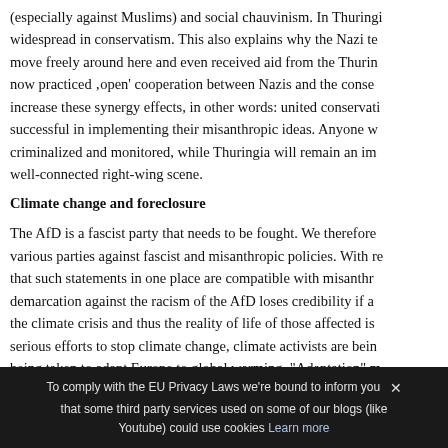(especially against Muslims) and social chauvinism. In Thuringia, this is widespread in conservatism. This also explains why the Nazi terrorists could move freely around here and even received aid from the Thuringian state. AfD now practiced 'open' cooperation between Nazis and the conservatives to increase these synergy effects, in other words: united conservatism is more successful in implementing their misanthropic ideas. Anyone who resists is criminalized and monitored, while Thuringia will remain an important hub for a well-connected right-wing scene.
Climate change and foreclosure
The AfD is a fascist party that needs to be fought. We therefore unite with various parties against fascist and misanthropic policies. With reservations: that such statements in one place are compatible with misanthropic policies, demarcation against the racism of the AfD loses credibility if at the same time the climate crisis and thus the reality of life of those affected is negated. If serious efforts to stop climate change, climate activists are being criminalized, being taken to adapt Europe to global warming. "Adaptation" m...
To comply with the EU Privacy Laws we're bound to inform you ✕ that some third party services used on some of our blogs (like Youtube) could use cookies Learn more